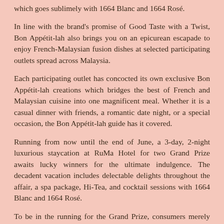which goes sublimely with 1664 Blanc and 1664 Rosé.
In line with the brand's promise of Good Taste with a Twist, Bon Appétit-lah also brings you on an epicurean escapade to enjoy French-Malaysian fusion dishes at selected participating outlets spread across Malaysia.
Each participating outlet has concocted its own exclusive Bon Appétit-lah creations which bridges the best of French and Malaysian cuisine into one magnificent meal. Whether it is a casual dinner with friends, a romantic date night, or a special occasion, the Bon Appétit-lah guide has it covered.
Running from now until the end of June, a 3-day, 2-night luxurious staycation at RuMa Hotel for two Grand Prize awaits lucky winners for the ultimate indulgence. The decadent vacation includes delectable delights throughout the affair, a spa package, Hi-Tea, and cocktail sessions with 1664 Blanc and 1664 Rosé.
To be in the running for the Grand Prize, consumers merely need to purchase RM30 worth of 1664 Blanc or 1664 Rosé in a single receipt in retail stores. To double the chances of winning, purchase any 1664 Blanc tower at your favourite bar or pub, or to gain one